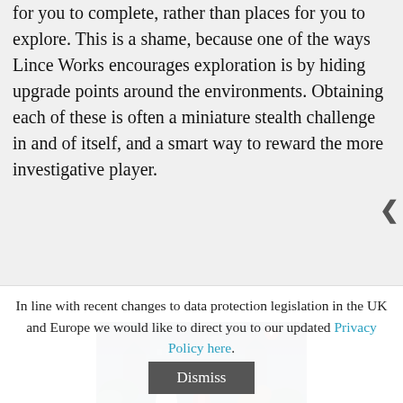for you to complete, rather than places for you to explore. This is a shame, because one of the ways Lince Works encourages exploration is by hiding upgrade points around the environments. Obtaining each of these is often a miniature stealth challenge in and of itself, and a smart way to reward the more investigative player.
[Figure (screenshot): Screenshot from the game Aragami showing characters in a dark fantasy environment with castle buildings in the background]
Click to enlarge
The other thing Aragami is missing compared to the
In line with recent changes to data protection legislation in the UK and Europe we would like to direct you to our updated Privacy Policy here.
Dismiss